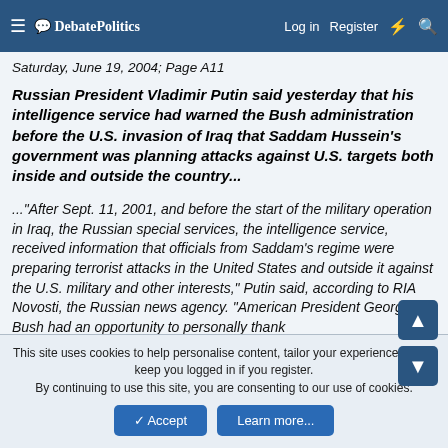DebatePolitics — Log in  Register
Saturday, June 19, 2004; Page A11
Russian President Vladimir Putin said yesterday that his intelligence service had warned the Bush administration before the U.S. invasion of Iraq that Saddam Hussein's government was planning attacks against U.S. targets both inside and outside the country...
..."After Sept. 11, 2001, and before the start of the military operation in Iraq, the Russian special services, the intelligence service, received information that officials from Saddam's regime were preparing terrorist attacks in the United States and outside it against the U.S. military and other interests," Putin said, according to RIA Novosti, the Russian news agency. "American President George Bush had an opportunity to personally thank
This site uses cookies to help personalise content, tailor your experience and to keep you logged in if you register.
By continuing to use this site, you are consenting to our use of cookies.